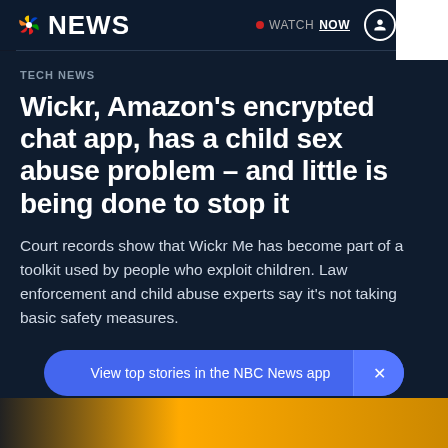NBC NEWS | WATCH NOW | [user icon] [menu icon]
TECH NEWS
Wickr, Amazon's encrypted chat app, has a child sex abuse problem – and little is being done to stop it
Court records show that Wickr Me has become part of a toolkit used by people who exploit children. Law enforcement and child abuse experts say it's not taking basic safety measures.
View top stories in the NBC News app